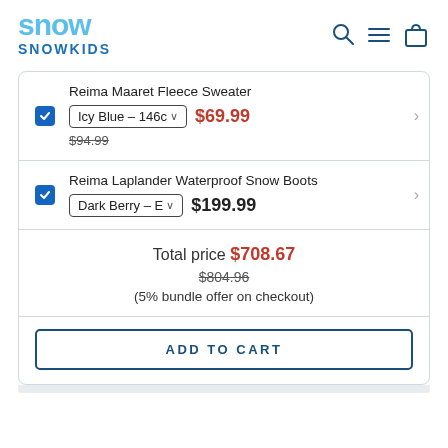[Figure (logo): SNOWKIDS logo with stylized 'SNOW' text in light blue and 'SNOWKIDS' in dark blue, plus navigation icons (search, menu, cart)]
| ✓ | Reima Maaret Fleece Sweater
Icy Blue - 146c ∨  $69.99
$94.99 |
| ✓ | Reima Laplander Waterproof Snow Boots
Dark Berry - E ∨  $199.99 |
Total price $708.67
$804.96
(5% bundle offer on checkout)
ADD TO CART